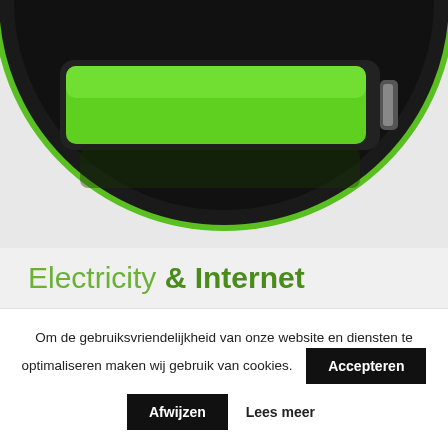[Figure (illustration): A green fully-charged battery icon displayed in a circular black frame against a light gray background. The battery indicator is bright green showing full charge, with a dark glossy surround.]
Electricity & Internet
Om de gebruiksvriendelijkheid van onze website en diensten te optimaliseren maken wij gebruik van cookies.
Accepteren
Afwijzen
Lees meer